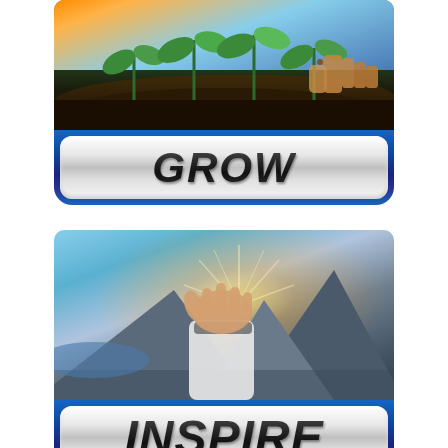[Figure (illustration): Photo of seedlings growing from dark soil with a hand planting, against a sunset sky, with a blue-bordered metallic badge reading GROW in bold italic letters]
[Figure (illustration): Photo of a person's arm outstretched toward a mountain vista with bright sunlight, with a blue-bordered metallic badge reading INSPIRE in bold italic letters]